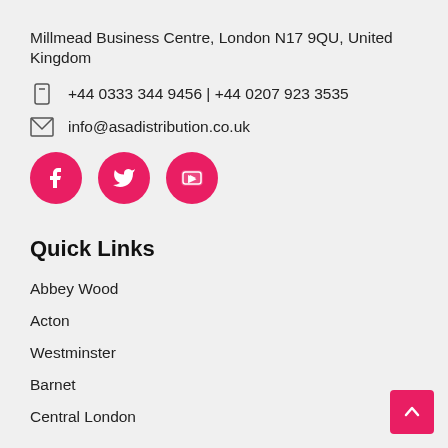Millmead Business Centre, London N17 9QU, United Kingdom
+44 0333 344 9456 | +44 0207 923 3535
info@asadistribution.co.uk
[Figure (other): Social media icons: Facebook, Twitter, YouTube — pink circular buttons]
Quick Links
Abbey Wood
Acton
Westminster
Barnet
Central London